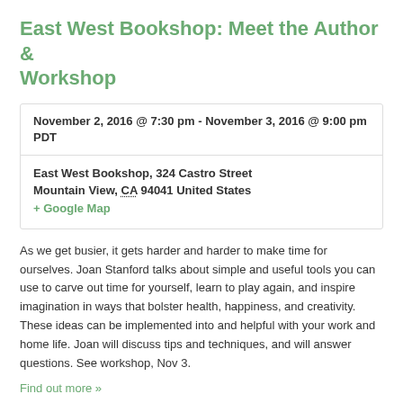East West Bookshop: Meet the Author & Workshop
November 2, 2016 @ 7:30 pm - November 3, 2016 @ 9:00 pm PDT
East West Bookshop, 324 Castro Street Mountain View, CA 94041 United States + Google Map
As we get busier, it gets harder and harder to make time for ourselves. Joan Stanford talks about simple and useful tools you can use to carve out time for yourself, learn to play again, and inspire imagination in ways that bolster health, happiness, and creativity. These ideas can be implemented into and helpful with your work and home life. Joan will discuss tips and techniques, and will answer questions. See workshop, Nov 3.
Find out more »